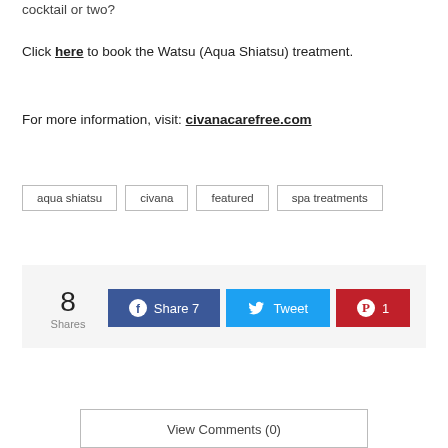cocktail or two?
Click here to book the Watsu (Aqua Shiatsu) treatment.
For more information, visit: civanacarefree.com
aqua shiatsu
civana
featured
spa treatments
8 Shares — Share 7 | Tweet | 1
View Comments (0)